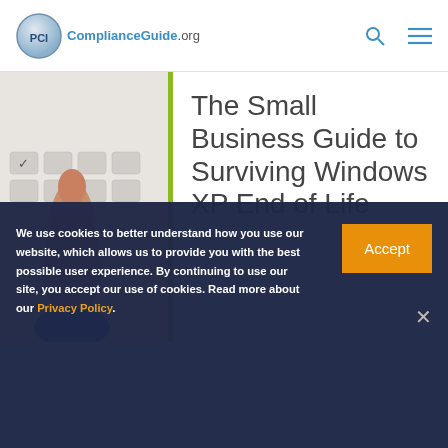PCIComplianceGuide.org
[Figure (screenshot): Article preview showing keyboard/finger photo on left, green vertical divider bar, and article title 'The Small Business Guide to Surviving Windows XP End of Life' on right]
We use cookies to better understand how you use our website, which allows us to provide you with the best possible user experience. By continuing to use our site, you accept our use of cookies. Read more about our Privacy Policy.